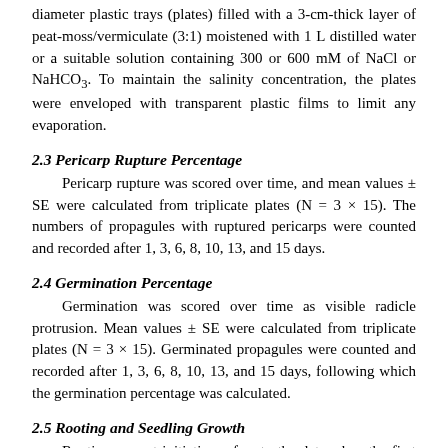diameter plastic trays (plates) filled with a 3-cm-thick layer of peat-moss/vermiculate (3:1) moistened with 1 L distilled water or a suitable solution containing 300 or 600 mM of NaCl or NaHCO3. To maintain the salinity concentration, the plates were enveloped with transparent plastic films to limit any evaporation.
2.3 Pericarp Rupture Percentage
Pericarp rupture was scored over time, and mean values ± SE were calculated from triplicate plates (N = 3 × 15). The numbers of propagules with ruptured pericarps were counted and recorded after 1, 3, 6, 8, 10, 13, and 15 days.
2.4 Germination Percentage
Germination was scored over time as visible radicle protrusion. Mean values ± SE were calculated from triplicate plates (N = 3 × 15). Germinated propagules were counted and recorded after 1, 3, 6, 8, 10, 13, and 15 days, following which the germination percentage was calculated.
2.5 Rooting and Seedling Growth
Rooting or root initiation refers to the date when the first root appeared following pericarp rupture and radicle emergence. Mean values ± SE were calculated from triplicate plates (N = 3 × 15). Rooting percentage was calculated after 1, 3, 6, 8, 10, 13,